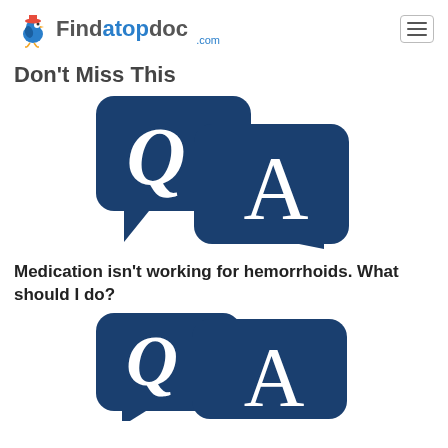Findatopdoc.com
Don't Miss This
[Figure (illustration): Q&A speech bubble icon with Q and A letters in dark navy blue]
Medication isn't working for hemorrhoids. What should I do?
[Figure (illustration): Q&A speech bubble icon with Q and A letters in dark navy blue (second instance)]